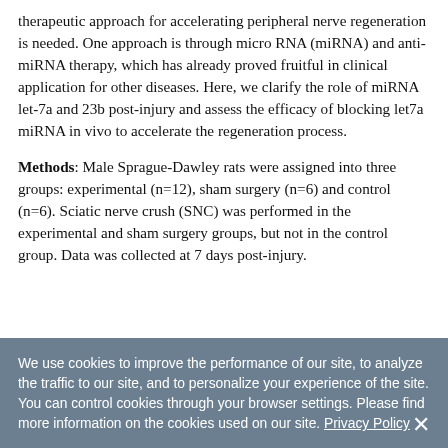therapeutic approach for accelerating peripheral nerve regeneration is needed. One approach is through micro RNA (miRNA) and anti-miRNA therapy, which has already proved fruitful in clinical application for other diseases. Here, we clarify the role of miRNA let-7a and 23b post-injury and assess the efficacy of blocking let7a miRNA in vivo to accelerate the regeneration process.
Methods: Male Sprague-Dawley rats were assigned into three groups: experimental (n=12), sham surgery (n=6) and control (n=6). Sciatic nerve crush (SNC) was performed in the experimental and sham surgery groups, but not in the control group. Data was collected at 7 days post-injury.
We use cookies to improve the performance of our site, to analyze the traffic to our site, and to personalize your experience of the site. You can control cookies through your browser settings. Please find more information on the cookies used on our site. Privacy Policy